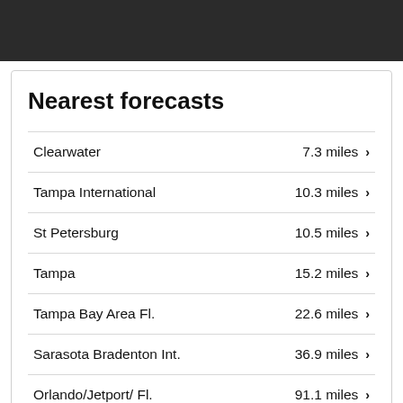Nearest forecasts
Clearwater — 7.3 miles
Tampa International — 10.3 miles
St Petersburg — 10.5 miles
Tampa — 15.2 miles
Tampa Bay Area Fl. — 22.6 miles
Sarasota Bradenton Int. — 36.9 miles
Orlando/Jetport/ Fl. — 91.1 miles